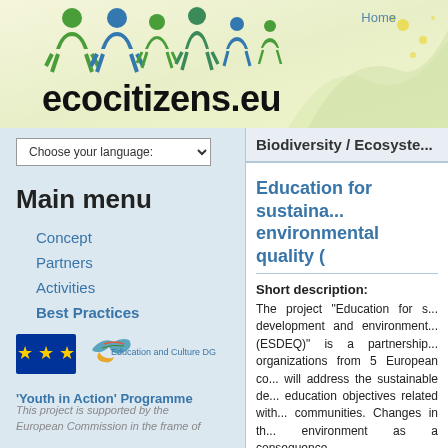[Figure (logo): ecocitizens.eu website header with colorful cartoon people figures in green and blue, site title 'ecocitizens.eu', Home link, and decorative leaf/wave background]
[Figure (other): Language dropdown selector: 'Choose your language:']
Main menu
Concept
Partners
Activities
Best Practices
[Figure (logo): EU flag logo and 'Education and Culture DG' bird logo with text 'Youth in Action' Programme]
This project is supported by the
European Commission in the frame of
Biodiversity / Ecosyste...
Education for sustaina... environmental quality (
Short description:
The project "Education for s... development and environment... (ESDEQ)" is a partnership... organizations from 5 European co... will address the sustainable de... education objectives related with... communities. Changes in th... environment as a consequence...